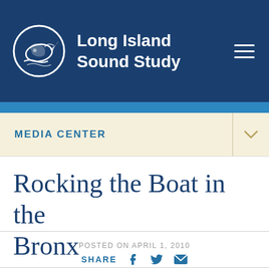Long Island Sound Study
MEDIA CENTER
Rocking the Boat in the Bronx
POSTED ON APRIL 1, 2010
SHARE